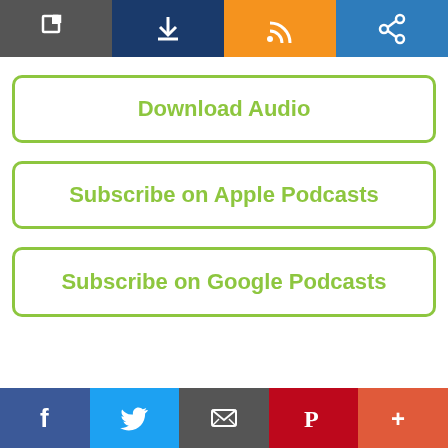[Figure (screenshot): Top toolbar with four icon buttons: external link (dark gray), download (navy), RSS feed (orange), share (blue)]
Download Audio
Subscribe on Apple Podcasts
Subscribe on Google Podcasts
[Figure (screenshot): Bottom social sharing bar with five buttons: Facebook (blue), Twitter (light blue), Email (gray), Pinterest (red), More (orange-red)]